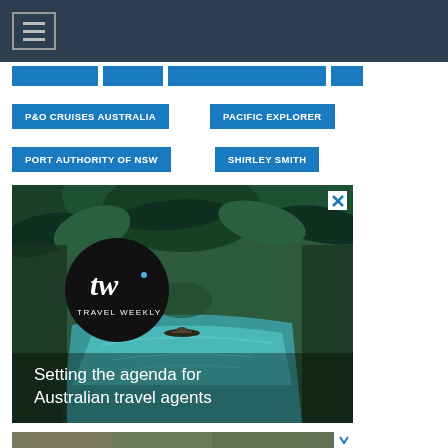Navigation header bar with hamburger menu
P&O CRUISES AUSTRALIA
PACIFIC EXPLORER
PORT AUTHORITY OF NSW
SHIRLEY SMITH
[Figure (photo): Travel Weekly advertisement showing a tropical river scene with palm trees and a person kayaking. Features Travel Weekly (tw) logo in a black circle and text 'Setting the agenda for Australian travel agents'. Has a close (X) button in the top right corner.]
[Figure (photo): Partial view of another advertisement at the bottom of the page.]